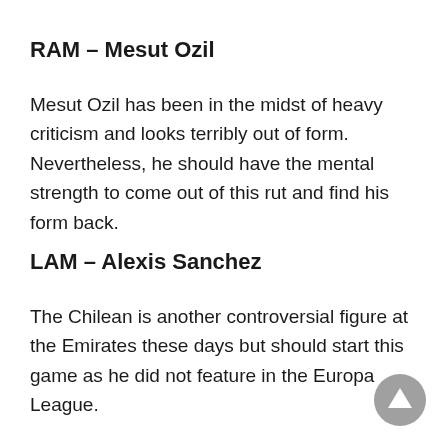RAM – Mesut Ozil
Mesut Ozil has been in the midst of heavy criticism and looks terribly out of form. Nevertheless, he should have the mental strength to come out of this rut and find his form back.
LAM – Alexis Sanchez
The Chilean is another controversial figure at the Emirates these days but should start this game as he did not feature in the Europa League.